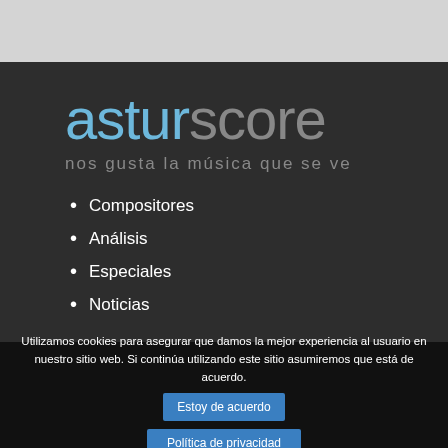[Figure (logo): asturscore logo with tagline 'nos gusta la música que se ve']
Compositores
Análisis
Especiales
Noticias
Utilizamos cookies para asegurar que damos la mejor experiencia al usuario en nuestro sitio web. Si continúa utilizando este sitio asumiremos que está de acuerdo.
Estoy de acuerdo
Política de privacidad